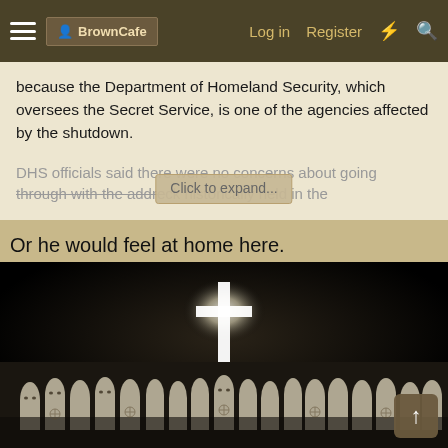BrownCafe | Log in | Register
because the Department of Homeland Security, which oversees the Secret Service, is one of the agencies affected by the shutdown.
DHS officials said there were no concerns about going through with the address, historically held in the... Click to expand...
Or he would feel at home here.
[Figure (photo): Black and white historical photograph showing a large gathering of KKK members in white robes and hoods, with a large illuminated cross burning in the background.]